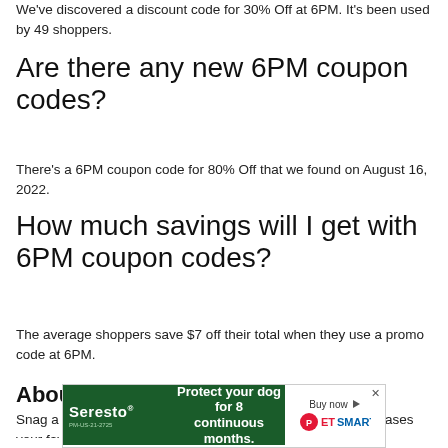We've discovered a discount code for 30% Off at 6PM. It's been used by 49 shoppers.
Are there any new 6PM coupon codes?
There's a 6PM coupon code for 80% Off that we found on August 16, 2022.
How much savings will I get with 6PM coupon codes?
The average shoppers save $7 off their total when they use a promo code at 6PM.
About 6PM
Snag a smart deal at 6pm.com! This virtual outlet store showcases your favorite designer brands for less, including discount shoes, clothes and bags at up to 75
[Figure (screenshot): Advertisement banner for Seresto pet flea and tick collar at PetSmart: green background with 'Protect your dog for 8 continuous months.' and 'Buy now' button with PetSmart logo.]